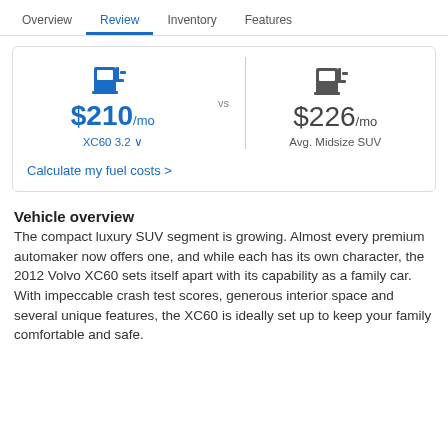Overview | Review | Inventory | Features
[Figure (infographic): Fuel cost comparison widget showing $210/mo for XC60 3.2 vs $226/mo for Avg. Midsize SUV, with fuel pump icons]
Calculate my fuel costs >
Vehicle overview
The compact luxury SUV segment is growing. Almost every premium automaker now offers one, and while each has its own character, the 2012 Volvo XC60 sets itself apart with its capability as a family car. With impeccable crash test scores, generous interior space and several unique features, the XC60 is ideally set up to keep your family comfortable and safe.